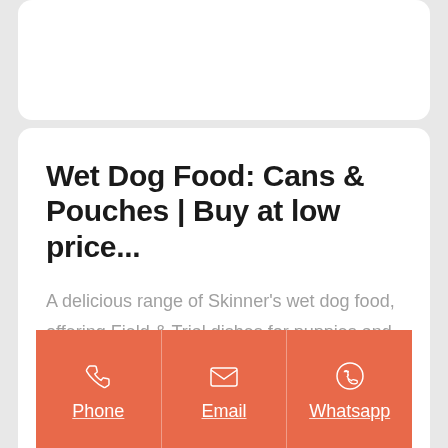Wet Dog Food: Cans & Pouches | Buy at low price...
A delicious range of Skinner’s wet dog food, offering Field & Trial dishes for puppies and adult dogs in a range of irresistible flavours. Each tasty recipe is grain-free, making it ideal for more sensitive stomachs, as well as being
Phone | Email | Whatsapp